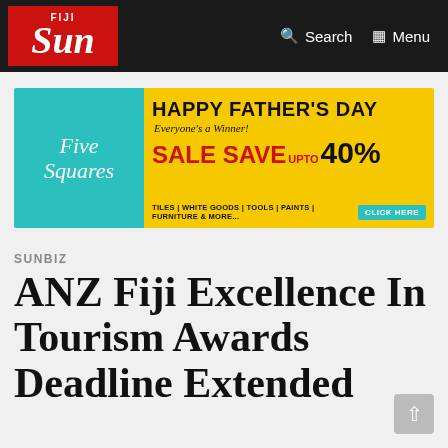Fiji Sun — Search | Menu
[Figure (illustration): Five Squares store advertisement banner: Happy Father's Day - Everyone's a Winner! Sale Save UPTO 40% - Tiles | White Goods | Tools | Paints | Furniture & More... Click Here]
SUNBIZ
ANZ Fiji Excellence In Tourism Awards Deadline Extended